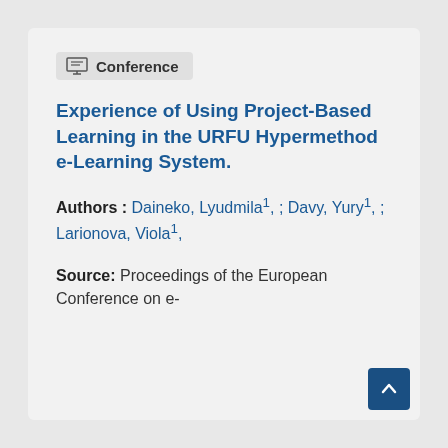Conference
Experience of Using Project-Based Learning in the URFU Hypermethod e-Learning System.
Authors : Daineko, Lyudmila¹, ; Davy, Yury¹, ; Larionova, Viola¹,
Source: Proceedings of the European Conference on e-